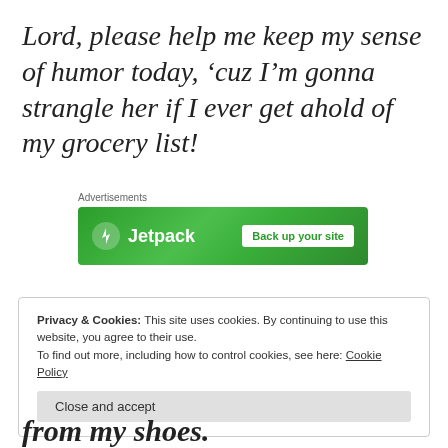Lord, please help me keep my sense of humor today, ‘cuz I’m gonna strangle her if I ever get ahold of my grocery list!
Advertisements
[Figure (other): Jetpack advertisement banner with green background, Jetpack logo and lightning bolt icon on left, and 'Back up your site' button on right]
Privacy & Cookies: This site uses cookies. By continuing to use this website, you agree to their use.
To find out more, including how to control cookies, see here: Cookie Policy
Close and accept
from my shoes.